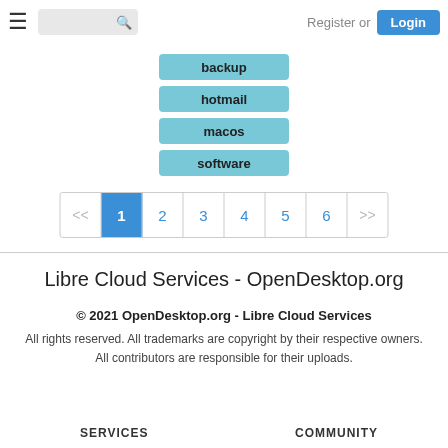≡  [search]  Register or Login
backup
hotmail
macos
software
<< 1 2 3 4 5 6 >>
Libre Cloud Services - OpenDesktop.org
© 2021 OpenDesktop.org - Libre Cloud Services
All rights reserved. All trademarks are copyright by their respective owners. All contributors are responsible for their uploads.
SERVICES
COMMUNITY